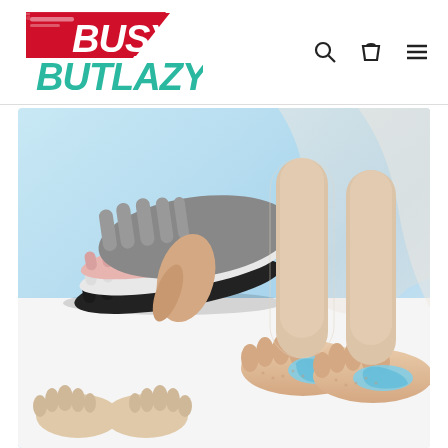[Figure (logo): BusyButLazy logo with red and teal/green diagonal stripe design. 'Busy' in red bold italic, 'ButLazy' in teal/green bold italic.]
[Figure (photo): Product photo showing five-toe compression/cooling socks in multiple colors (black, white, pink, gray, nude/beige) laid flat, plus a pair of feet wearing nude/beige five-toe socks with blue gel insole pads visible, with sheer fabric draped over the legs. Two small nude toe socks shown at bottom left.]